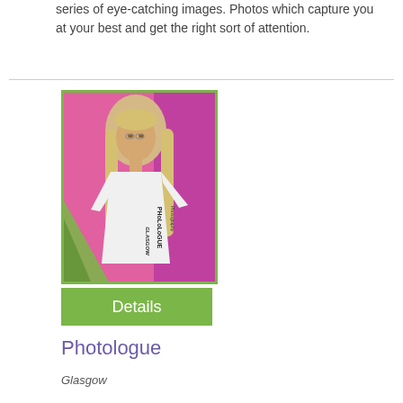series of eye-catching images. Photos which capture you at your best and get the right sort of attention.
[Figure (photo): Portrait photo of a woman with long blonde hair wearing a white Photologue Photography Glasgow t-shirt, standing in front of a colorful pink and green graffiti background. The image has a green border.]
Details
Photologue
Glasgow